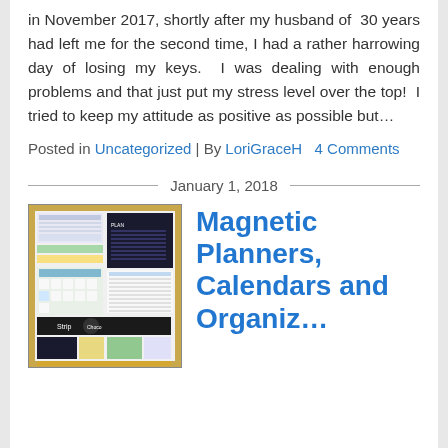in November 2017, shortly after my husband of 30 years had left me for the second time, I had a rather harrowing day of losing my keys.  I was dealing with enough problems and that just put my stress level over the top!  I tried to keep my attitude as positive as possible but…
Posted in Uncategorized | By LoriGraceH   4 Comments
January 1, 2018
[Figure (photo): Thumbnail image showing a collage of magnetic planners, calendars and organizers products arranged together]
Magnetic Planners, Calendars and Organizers